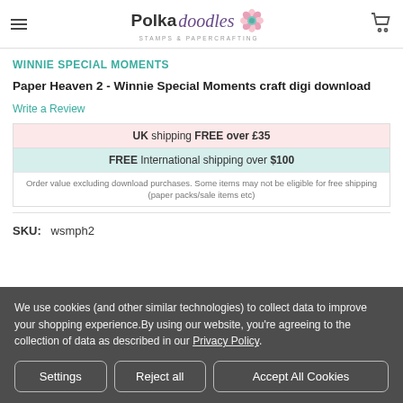Polkadoodles Stamps & Papercrafting
WINNIE SPECIAL MOMENTS
Paper Heaven 2 - Winnie Special Moments craft digi download
Write a Review
UK shipping FREE over £35
FREE International shipping over $100
Order value excluding download purchases. Some items may not be eligible for free shipping (paper packs/sale items etc)
SKU:  wsmph2
We use cookies (and other similar technologies) to collect data to improve your shopping experience.By using our website, you're agreeing to the collection of data as described in our Privacy Policy.
Settings | Reject all | Accept All Cookies